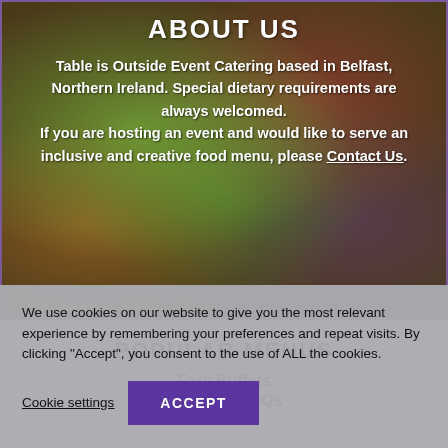ABOUT US
Table is Outside Event Catering based in Belfast, Northern Ireland. Special dietary requirements are always welcomed.

If you are hosting an event and would like to serve an inclusive and creative food menu, please Contact Us.
POPULAR MENUS
Fork Buffets
Charcoal BBQs
We use cookies on our website to give you the most relevant experience by remembering your preferences and repeat visits. By clicking "Accept", you consent to the use of ALL the cookies.
Cookie settings   ACCEPT